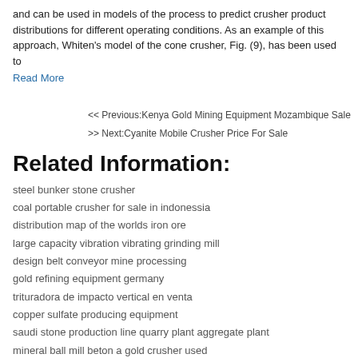and can be used in models of the process to predict crusher product distributions for different operating conditions. As an example of this approach, Whiten’s model of the cone crusher, Fig. (9), has been used to
Read More
<< Previous:Kenya Gold Mining Equipment Mozambique Sale
>> Next:Cyanite Mobile Crusher Price For Sale
Related Information:
steel bunker stone crusher
coal portable crusher for sale in indonessia
distribution map of the worlds iron ore
large capacity vibration vibrating grinding mill
design belt conveyor mine processing
gold refining equipment germany
trituradora de impacto vertical en venta
copper sulfate producing equipment
saudi stone production line quarry plant aggregate plant
mineral ball mill beton a gold crusher used